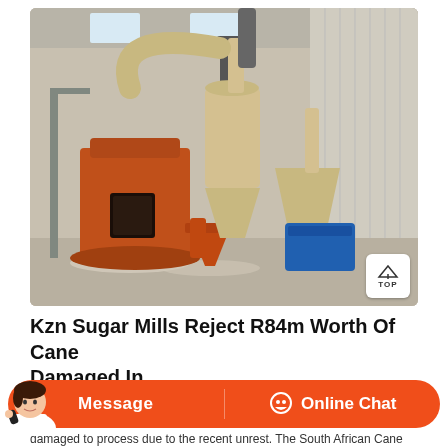[Figure (photo): Industrial sugar milling equipment inside a warehouse/factory building. Large orange cylindrical grinding mill in center-left, with beige/tan cyclone separators and dust collection equipment, pipes routing upward, and a blue hopper/container at lower right. Metal corrugated walls and skylights visible.]
Kzn Sugar Mills Reject R84m Worth Of Cane Damaged In
damaged to process due to the recent unrest. The South African Cane